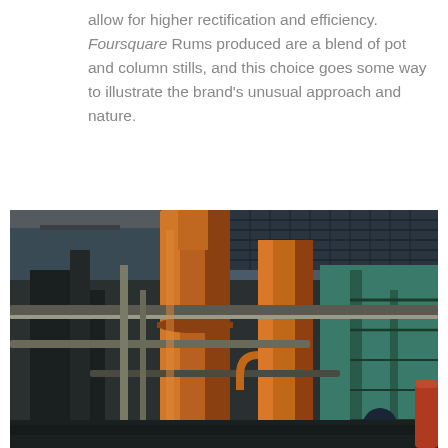allow for higher rectification and efficiency. Foursquare Rums produced are a blend of pot and column stills, and this choice goes some way to illustrate the brand's unusual approach and nature.
[Figure (photo): Interior of a distillery showing large copper pot stills and column stills with steel pipes, grating, scaffolding, and a worker visible in the lower right corner.]